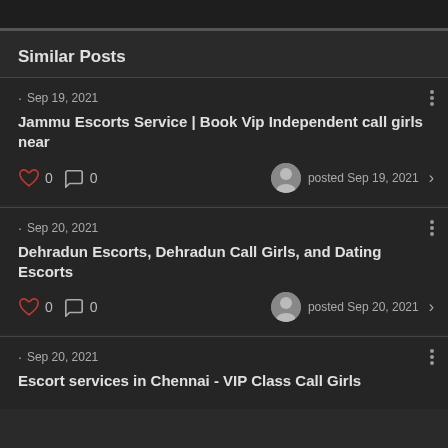Similar Posts
Sep 19, 2021 — Jammu Escorts Service | Book Vip Independent call girls near — 0 likes, 0 comments — posted Sep 19, 2021
Sep 20, 2021 — Dehradun Escorts, Dehradun Call Girls, and Dating Escorts — 0 likes, 0 comments — posted Sep 20, 2021
Sep 20, 2021 — Escort services in Chennai - VIP Class Call Girls